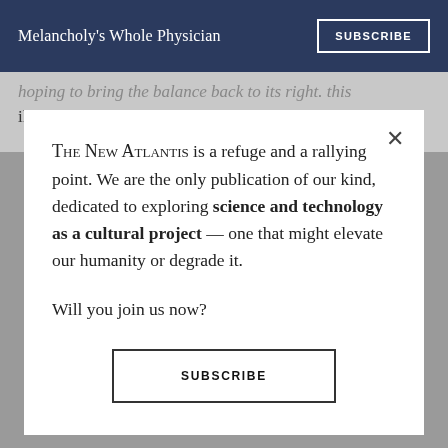Melancholy's Whole Physician | SUBSCRIBE
hoping to bring the balance back to its right. This illness requires a word that renders this sense of
The New Atlantis is a refuge and a rallying point. We are the only publication of our kind, dedicated to exploring science and technology as a cultural project — one that might elevate our humanity or degrade it.

Will you join us now?
SUBSCRIBE